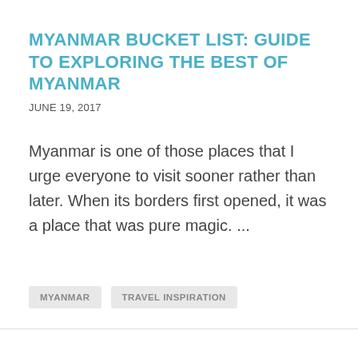MYANMAR BUCKET LIST: GUIDE TO EXPLORING THE BEST OF MYANMAR
JUNE 19, 2017
Myanmar is one of those places that I urge everyone to visit sooner rather than later. When its borders first opened, it was a place that was pure magic. ...
MYANMAR
TRAVEL INSPIRATION